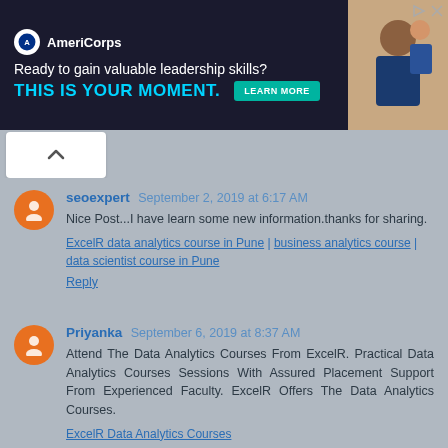[Figure (screenshot): AmeriCorps advertisement banner: 'Ready to gain valuable leadership skills? THIS IS YOUR MOMENT.' with LEARN MORE button and image of people]
seoexpert September 2, 2019 at 6:17 AM
Nice Post...I have learn some new information.thanks for sharing.
ExcelR data analytics course in Pune | business analytics course | data scientist course in Pune
Reply
Priyanka September 6, 2019 at 8:37 AM
Attend The Data Analytics Courses From ExcelR. Practical Data Analytics Courses Sessions With Assured Placement Support From Experienced Faculty. ExcelR Offers The Data Analytics Courses.
ExcelR Data Analytics Courses
Reply